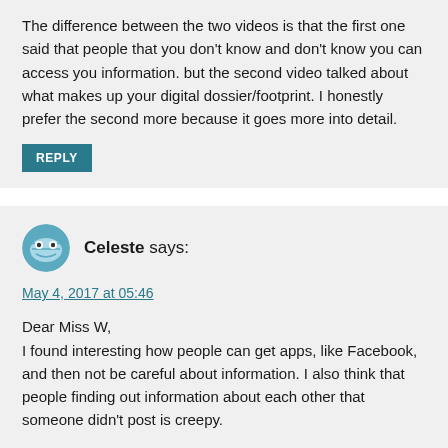The difference between the two videos is that the first one said that people that you don't know and don't know you can access you information. but the second video talked about what makes up your digital dossier/footprint. I honestly prefer the second more because it goes more into detail.
REPLY
Celeste says:
May 4, 2017 at 05:46
Dear Miss W,
I found interesting how people can get apps, like Facebook, and then not be careful about information. I also think that people finding out information about each other that someone didn't post is creepy.